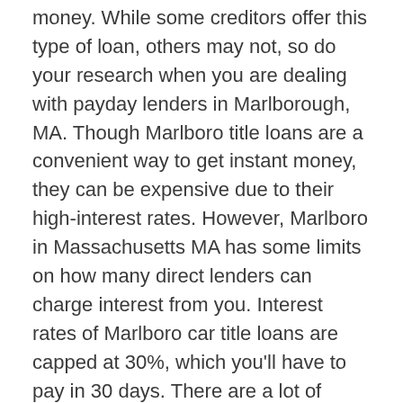money. While some creditors offer this type of loan, others may not, so do your research when you are dealing with payday lenders in Marlborough, MA. Though Marlboro title loans are a convenient way to get instant money, they can be expensive due to their high-interest rates. However, Marlboro in Massachusetts MA has some limits on how many direct lenders can charge interest from you. Interest rates of Marlboro car title loans are capped at 30%, which you'll have to pay in 30 days. There are a lot of reasons why getting Installment loans online in Marlborough from us is the best decision that you will make.
I rented car from this place 2 times, highly recommend place to rent cars. Great selection of cars and the location is very convenient. Eastern